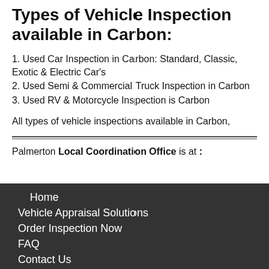Types of Vehicle Inspection available in Carbon:
1. Used Car Inspection in Carbon: Standard, Classic, Exotic & Electric Car's
2. Used Semi & Commercial Truck Inspection in Carbon
3. Used RV & Motorcycle Inspection is Carbon
All types of vehicle inspections available in Carbon,
Palmerton Local Coordination Office is at :
Home
Vehicle Appraisal Solutions
Order Inspection Now
FAQ
Contact Us